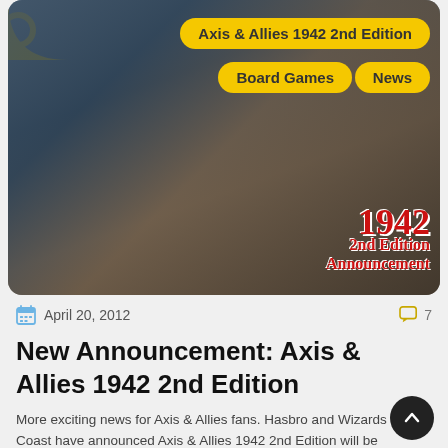[Figure (photo): Box art for Axis & Allies 1942 2nd Edition board game, showing military figures, ships, aircraft, and a large '1942 2nd Edition Announcement' text overlay. Yellow pill-shaped tags on the image read 'Axis & Allies 1942 2nd Edition', 'Board Games', and 'News'.]
April 20, 2012
7
New Announcement: Axis & Allies 1942 2nd Edition
More exciting news for Axis & Allies fans. Hasbro and Wizards of the Coast have announced Axis & Allies 1942 2nd Edition will be released on July 27, 2012. Rea more for the details.